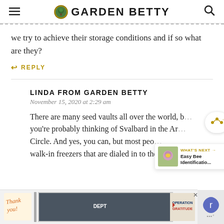GARDEN BETTY
we try to achieve their storage conditions and if so what are they?
↩ REPLY
LINDA FROM GARDEN BETTY
November 15, 2020 at 2:29 am
There are many seed vaults all over the world, b… you're probably thinking of Svalbard in the Arctic Circle. And yes, you can, but most people… walk-in freezers that are dialed in to the perfe…
[Figure (screenshot): Advertisement banner for Operation Gratitude showing firefighters and a thank you note illustration]
[Figure (screenshot): What's Next teaser showing Easy Bee Identification article thumbnail]